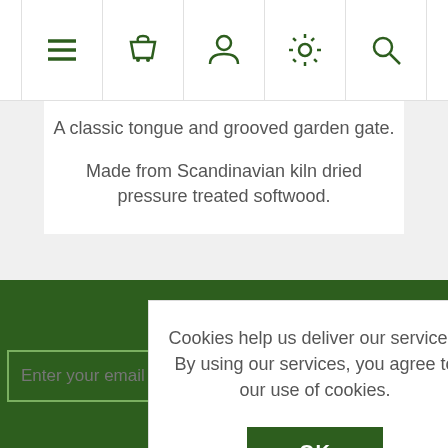[Figure (screenshot): Navigation bar with menu, basket, user, settings, and search icons in green on white background]
A classic tongue and grooved garden gate.
Made from Scandinavian kiln dried pressure treated softwood.
Cookies help us deliver our services. By using our services, you agree to our use of cookies.
OK
Learn more
Newsletter
Enter your email here...